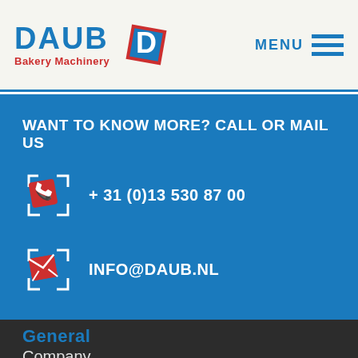[Figure (logo): DAUB Bakery Machinery logo with blue D icon in red square bracket frame]
MENU
WANT TO KNOW MORE? CALL OR MAIL US
+ 31 (0)13 530 87 00
INFO@DAUB.NL
General
Company